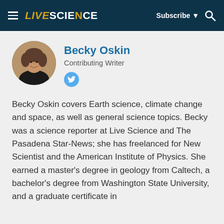LIVESCIENCE — Subscribe ▼
Becky Oskin
Contributing Writer
[Figure (photo): Circular headshot photo of Becky Oskin, a woman with short brown hair wearing a black top, against a neutral background.]
Becky Oskin covers Earth science, climate change and space, as well as general science topics. Becky was a science reporter at Live Science and The Pasadena Star-News; she has freelanced for New Scientist and the American Institute of Physics. She earned a master's degree in geology from Caltech, a bachelor's degree from Washington State University, and a graduate certificate in